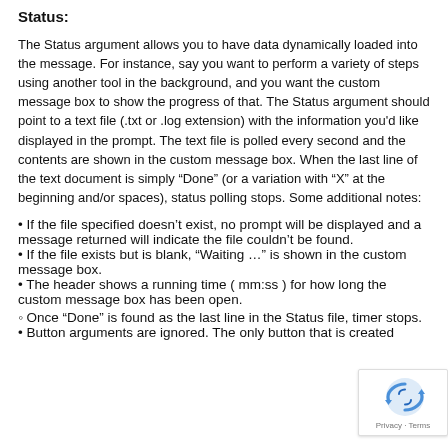Status:
The Status argument allows you to have data dynamically loaded into the message. For instance, say you want to perform a variety of steps using another tool in the background, and you want the custom message box to show the progress of that. The Status argument should point to a text file (.txt or .log extension) with the information you'd like displayed in the prompt. The text file is polled every second and the contents are shown in the custom message box. When the last line of the text document is simply “Done” (or a variation with “X” at the beginning and/or spaces), status polling stops. Some additional notes:
If the file specified doesn’t exist, no prompt will be displayed and a message returned will indicate the file couldn’t be found.
If the file exists but is blank, “Waiting …” is shown in the custom message box.
The header shows a running time ( mm:ss ) for how long the custom message box has been open.
Once “Done” is found as the last line in the Status file, timer stops.
Button arguments are ignored. The only button that is created